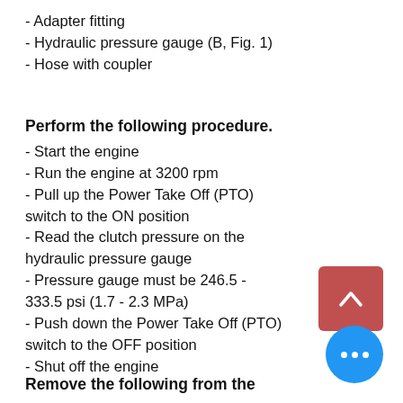- Adapter fitting
- Hydraulic pressure gauge (B, Fig. 1)
- Hose with coupler
Perform the following procedure.
- Start the engine
- Run the engine at 3200 rpm
- Pull up the Power Take Off (PTO) switch to the ON position
- Read the clutch pressure on the hydraulic pressure gauge
- Pressure gauge must be 246.5 - 333.5 psi (1.7 - 2.3 MPa)
- Push down the Power Take Off (PTO) switch to the OFF position
- Shut off the engine
Remove the following from the